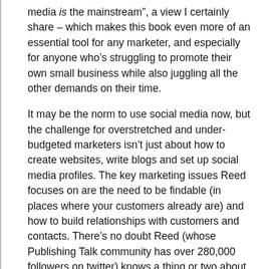media is the mainstream”, a view I certainly share – which makes this book even more of an essential tool for any marketer, and especially for anyone who’s struggling to promote their own small business while also juggling all the other demands on their time.
It may be the norm to use social media now, but the challenge for overstretched and under-budgeted marketers isn’t just about how to create websites, write blogs and set up social media profiles. The key marketing issues Reed focuses on are the need to be findable (in places where your customers already are) and how to build relationships with customers and contacts. There’s no doubt Reed (whose Publishing Talk community has over 280,000 followers on twitter) knows a thing or two about connecting with people. But readers also benefit from the accessible way in which he shares all his knowledge. The real-life case studies he reports on, the checklists and summaries he includes and the links to all those third-party tools make it extremely easy for anyone to see which social media tools they can use to do this, and what steps they should take to achieve their goals. A new ‘best practice’ feature at the end of each chapter provides a handy reference for how to handle each featured approach, a glossary helps you sort your ‘wireframes’, ‘pingbacks’ and ‘hangouts’ from your ‘CMS’, and